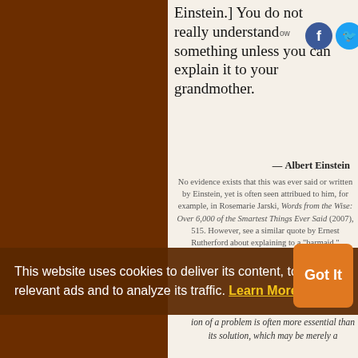Einstein.] You do not really understand something unless you can explain it to your grandmother.
— Albert Einstein
No evidence exists that this was ever said or written by Einstein, yet is often seen attribued to him, for example, in Rosemarie Jarski, Words from the Wise: Over 6,000 of the Smartest Things Ever Said (2007), 515. However, see a similar quote by Ernest Rutherford about explaining to a "barmaid."
Science quotes on: | Do (1905) | Einstein (101) | Explain (325) | Explanation (241) | Grandmother (4) | Misquotation (4) | Something (718) | Understand (634) | Understanding (525)
This website uses cookies to deliver its content, to show relevant ads and to analyze its traffic. Learn More
Got It
ion of a problem is often more essential than its solution, which may be merely a